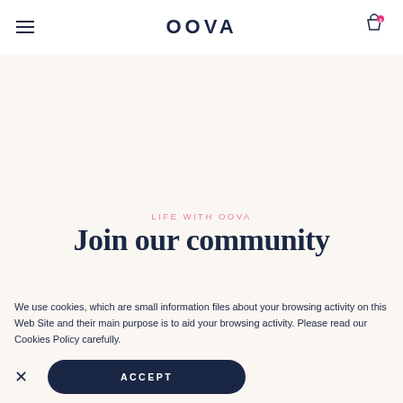OOVA
LIFE WITH OOVA
Join our community
We use cookies, which are small information files about your browsing activity on this Web Site and their main purpose is to aid your browsing activity. Please read our Cookies Policy carefully.
ACCEPT